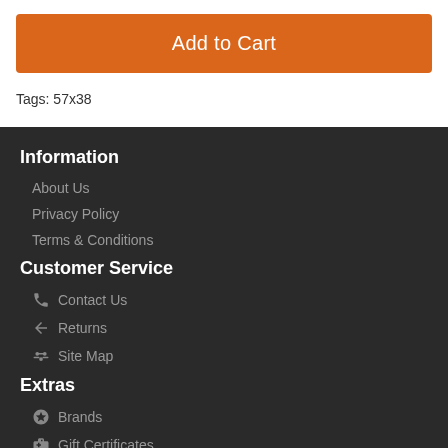Add to Cart
Tags: 57x38
Information
About Us
Privacy Policy
Terms & Conditions
Customer Service
Contact Us
Returns
Site Map
Extras
Brands
Gift Certificates